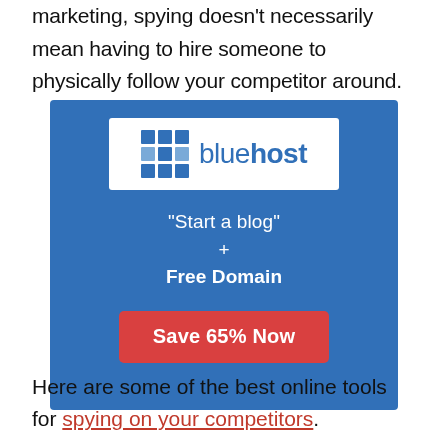marketing, spying doesn't necessarily mean having to hire someone to physically follow your competitor around.
[Figure (illustration): Bluehost advertisement banner with blue background showing the Bluehost logo, text 'Start a blog + Free Domain' and a red button saying 'Save 65% Now']
Here are some of the best online tools for spying on your competitors.